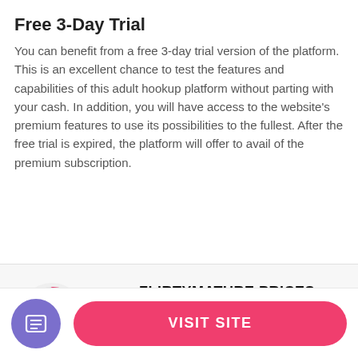Free 3-Day Trial
You can benefit from a free 3-day trial version of the platform. This is an excellent chance to test the features and capabilities of this adult hookup platform without parting with your cash. In addition, you will have access to the website's premium features to use its possibilities to the fullest. After the free trial is expired, the platform will offer to avail of the premium subscription.
[Figure (other): Circular gauge/donut indicator showing 44% in pink/rose color with an upward chevron icon inside, on a light gray background]
FLIRTYMATURE PRICES
VISIT SITE